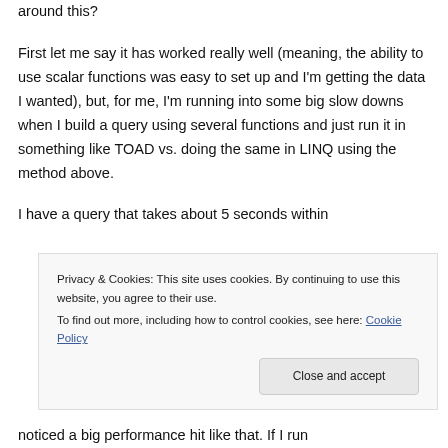around this?
First let me say it has worked really well (meaning, the ability to use scalar functions was easy to set up and I'm getting the data I wanted), but, for me, I'm running into some big slow downs when I build a query using several functions and just run it in something like TOAD vs. doing the same in LINQ using the method above.
I have a query that takes about 5 seconds within
Privacy & Cookies: This site uses cookies. By continuing to use this website, you agree to their use.
To find out more, including how to control cookies, see here: Cookie Policy
Close and accept
noticed a big performance hit like that. If I run